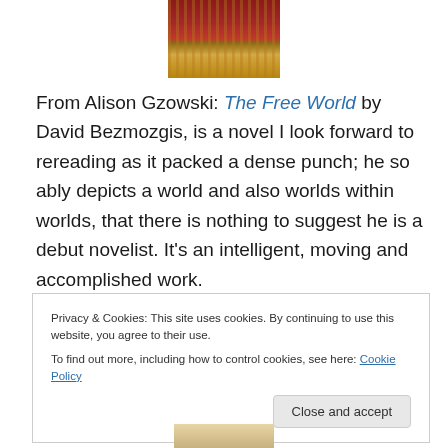[Figure (photo): Partial photo of books on a shelf, showing spines in red and tan/gold colors]
From Alison Gzowski: The Free World by David Bezmozgis, is a novel I look forward to rereading as it packed a dense punch; he so ably depicts a world and also worlds within worlds, that there is nothing to suggest he is a debut novelist. It’s an intelligent, moving and accomplished work.
/
/
Privacy & Cookies: This site uses cookies. By continuing to use this website, you agree to their use.
To find out more, including how to control cookies, see here: Cookie Policy
Close and accept
[Figure (photo): Partial photo at bottom of page, partially visible]